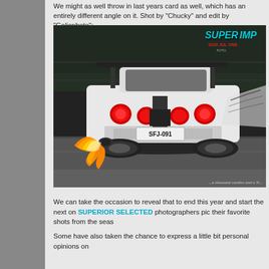We might as well throw in last years card as well, which has an entirely different angle on it. Shot by "Chucky" and edit by "Golicphoto":
[Figure (photo): Black and white photo of a white Nissan Skyline GT-R (license plate SFJ-091) shooting flames from its exhaust on a race track. The car has a large rear spoiler and custom graphics. The image has a 'Super Import' watermark logo in cyan in the top right corner along with red text 'GOD JUL ONS' and smaller gray text 'FOTO'. Bottom right caption reads '...a thousand candles and a Ti...']
We can take the occasion to reveal that to end this year and start the next on SUPERIOR SELECTED photographers pic their favorite shots from the seas...
Some have also taken the chance to express a little bit personal opinions on...